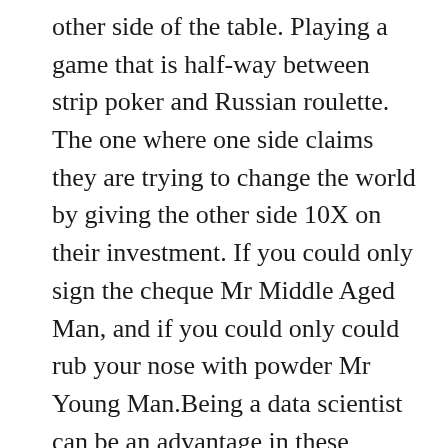other side of the table. Playing a game that is half-way between strip poker and Russian roulette. The one where one side claims they are trying to change the world by giving the other side 10X on their investment. If you could only sign the cheque Mr Middle Aged Man, and if you could only could rub your nose with powder Mr Young Man.Being a data scientist can be an advantage in these oxygen sucking bone marrow draining meetings as you play umpire to Sharapova grunting to beat Hingis in this tennis match. You can do a tech jargon dump, avoid questions by claiming just to be the tech guy or you can give them crazy brilliant scientist with the bad joke routine